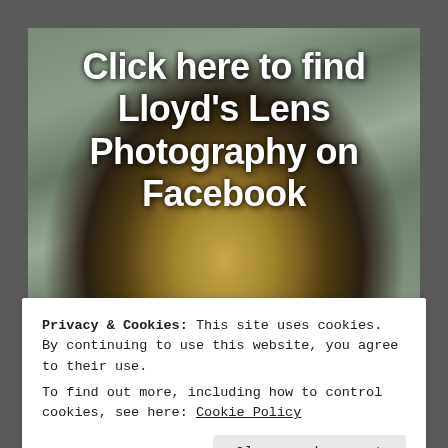[Figure (photo): A gold/brass hotel desk bell photographed on a stone surface with text overlay reading 'Click here to find Lloyd's Lens Photography on Facebook']
Privacy & Cookies: This site uses cookies. By continuing to use this website, you agree to their use.
To find out more, including how to control cookies, see here: Cookie Policy
Close and accept